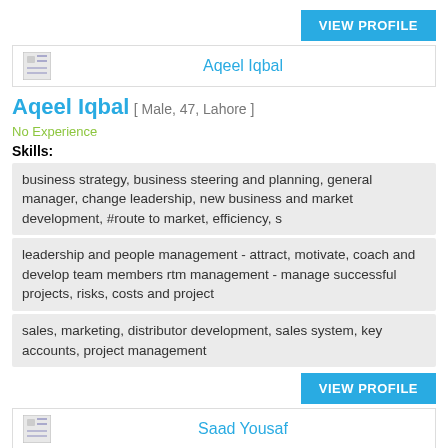[Figure (other): VIEW PROFILE button (cyan/blue) top right]
[Figure (other): Profile header box with avatar icon and name Aqeel Iqbal]
Aqeel Iqbal [ Male, 47, Lahore ]
No Experience
Skills:
business strategy, business steering and planning, general manager, change leadership, new business and market development, #route to market, efficiency, s
leadership and people management - attract, motivate, coach and develop team members rtm management - manage successful projects, risks, costs and project
sales, marketing, distributor development, sales system, key accounts, project management
[Figure (other): VIEW PROFILE button (cyan/blue) second occurrence]
[Figure (other): Profile header box with avatar icon and name Saad Yousaf]
Saad Yousaf [ Male, 32, Lahore ]
No Experience
Skills:
business development   fmcg